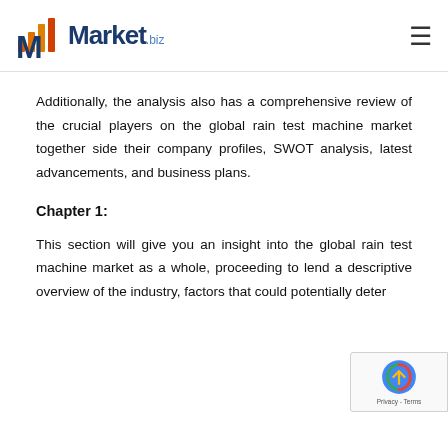Market.biz
Additionally, the analysis also has a comprehensive review of the crucial players on the global rain test machine market together side their company profiles, SWOT analysis, latest advancements, and business plans.
Chapter 1:
This section will give you an insight into the global rain test machine market as a whole, proceeding to lend a descriptive overview of the industry, factors that could potentially deter...